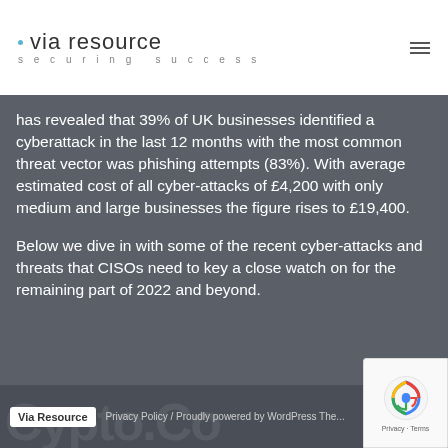[Figure (logo): Via Resource logo with 'via resource' in large text and 'securing success' in spaced smaller text below, with a small teal dot above 'via']
has revealed that 39% of UK businesses identified a cyberattack in the last 12 months with the most common threat vector was phishing attempts (83%). With average estimated cost of all cyber-attacks of £4,200 with only medium and large businesses the figure rises to £19,400.
Below we dive in with some of the recent cyber-attacks and threats that CISOs need to key a close watch on for the remaining part of 2022 and beyond.
Via Resource   Privacy Policy / Proudly powered by WordPress The... Seventeen